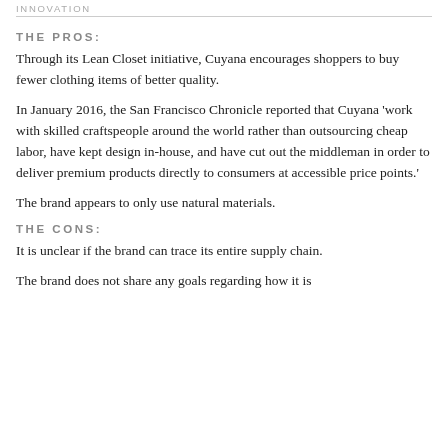INNOVATION
THE PROS:
Through its Lean Closet initiative, Cuyana encourages shoppers to buy fewer clothing items of better quality.
In January 2016, the San Francisco Chronicle reported that Cuyana 'work with skilled craftspeople around the world rather than outsourcing cheap labor, have kept design in-house, and have cut out the middleman in order to deliver premium products directly to consumers at accessible price points.'
The brand appears to only use natural materials.
THE CONS:
It is unclear if the brand can trace its entire supply chain.
The brand does not share any goals regarding how it is